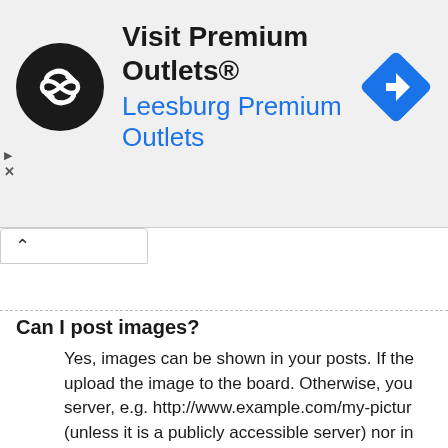[Figure (other): Advertisement banner for Visit Premium Outlets / Leesburg Premium Outlets with logo and navigation arrow icon]
Can I post images?
Yes, images can be shown in your posts. If the upload the image to the board. Otherwise, you server, e.g. http://www.example.com/my-pictur (unless it is a publicly accessible server) nor in or yahoo mailboxes, password protected sites
Top
What are global announcements?
Global announcements contain important infor will appear at the top of every forum and withi